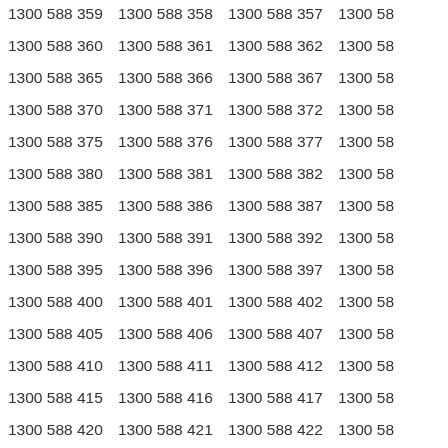| 1300 588 359 | 1300 588 358 | 1300 588 357 | 1300 58... |
| 1300 588 360 | 1300 588 361 | 1300 588 362 | 1300 58... |
| 1300 588 365 | 1300 588 366 | 1300 588 367 | 1300 58... |
| 1300 588 370 | 1300 588 371 | 1300 588 372 | 1300 58... |
| 1300 588 375 | 1300 588 376 | 1300 588 377 | 1300 58... |
| 1300 588 380 | 1300 588 381 | 1300 588 382 | 1300 58... |
| 1300 588 385 | 1300 588 386 | 1300 588 387 | 1300 58... |
| 1300 588 390 | 1300 588 391 | 1300 588 392 | 1300 58... |
| 1300 588 395 | 1300 588 396 | 1300 588 397 | 1300 58... |
| 1300 588 400 | 1300 588 401 | 1300 588 402 | 1300 58... |
| 1300 588 405 | 1300 588 406 | 1300 588 407 | 1300 58... |
| 1300 588 410 | 1300 588 411 | 1300 588 412 | 1300 58... |
| 1300 588 415 | 1300 588 416 | 1300 588 417 | 1300 58... |
| 1300 588 420 | 1300 588 421 | 1300 588 422 | 1300 58... |
| 1300 588 425 | 1300 588 426 | 1300 588 427 | 1300 58... |
| 1300 588 430 | 1300 588 431 | 1300 588 432 | 1300 58... |
| 1300 588 435 | 1300 588 436 | 1300 588 437 | 1300 58... |
| 1300 588 440 | 1300 588 441 | 1300 588 442 | 1300 58... |
| 1300 588 445 | 1300 588 446 | 1300 588 447 | 1300 58... |
| 1300 588 450 | 1300 588 451 | 1300 588 452 | 1300 58... |
| 1300 588 455 | 1300 588 456 | 1300 588 457 | 1300 58... |
| 1300 588 460 | 1300 588 461 | 1300 588 462 | 1300 58... |
| 1300 588 465 | 1300 588 466 | 1300 588 467 | 1300 58... |
| 1300 588 470 | 1300 588 471 | 1300 588 472 | 1300 58... |